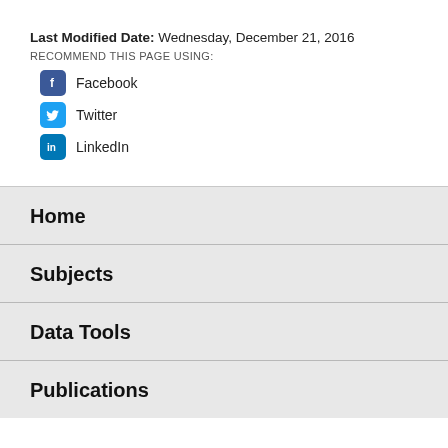Last Modified Date: Wednesday, December 21, 2016
RECOMMEND THIS PAGE USING:
Facebook
Twitter
LinkedIn
Home
Subjects
Data Tools
Publications